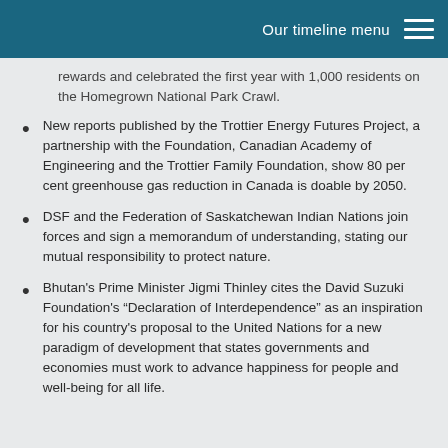Our timeline menu
rewards and celebrated the first year with 1,000 residents on the Homegrown National Park Crawl.
New reports published by the Trottier Energy Futures Project, a partnership with the Foundation, Canadian Academy of Engineering and the Trottier Family Foundation, show 80 per cent greenhouse gas reduction in Canada is doable by 2050.
DSF and the Federation of Saskatchewan Indian Nations join forces and sign a memorandum of understanding, stating our mutual responsibility to protect nature.
Bhutan's Prime Minister Jigmi Thinley cites the David Suzuki Foundation's "Declaration of Interdependence" as an inspiration for his country's proposal to the United Nations for a new paradigm of development that states governments and economies must work to advance happiness for people and well-being for all life.